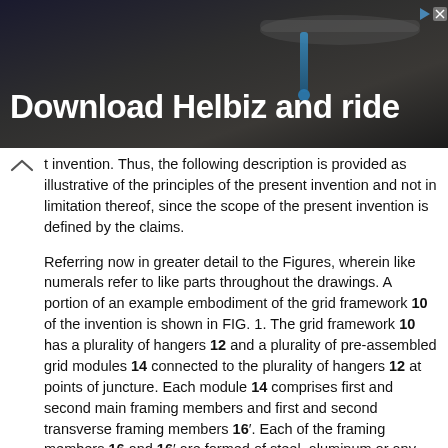[Figure (photo): Advertisement banner for Helbiz app showing bicycle handlebars on dark background with text 'Download Helbiz and ride']
t invention. Thus, the following description is provided as illustrative of the principles of the present invention and not in limitation thereof, since the scope of the present invention is defined by the claims.
Referring now in greater detail to the Figures, wherein like numerals refer to like parts throughout the drawings. A portion of an example embodiment of the grid framework 10 of the invention is shown in FIG. 1. The grid framework 10 has a plurality of hangers 12 and a plurality of pre-assembled grid modules 14 connected to the plurality of hangers 12 at points of juncture. Each module 14 comprises first and second main framing members and first and second transverse framing members 16′. Each of the framing members 16 and 16′ are formed of steel, aluminum or any other suitable material. Reference numeral 16 is used to designate those framing members extending in a first direction, while reference numeral 16′ is used to represent those framing members extending in a direction transverse to framing members 16. Each module 14 also has four identical corner splices 20 which link the framing members 16 to transverse framing members 18. In the example embodiment shown in the drawings, each corner splice 20 is bent, typically in the manufacturing process, into a substantially L shape so